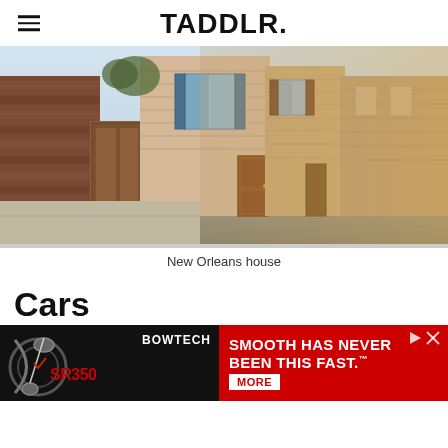TADDLR.
[Figure (photo): Street view of New Orleans shotgun houses along a sidewalk, warm golden sunlight, brick walls and wooden siding, painted in beige and grey tones.]
New Orleans house
Cars
[Figure (photo): Advertisement banner for Bowtech SR350 compound bow. Black background on left with bow graphic and red SR350 text. Red background on right with white text: SMOOTH HAS NEVER BEEN THIS FAST. MORE button.]